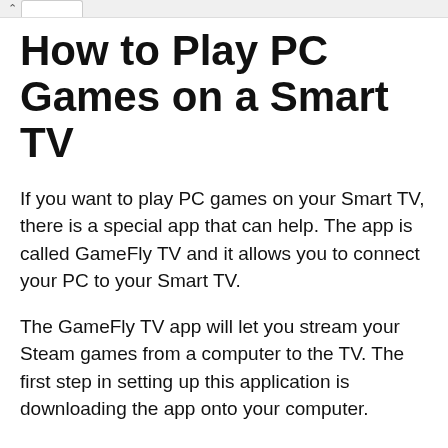How to Play PC Games on a Smart TV
If you want to play PC games on your Smart TV, there is a special app that can help. The app is called GameFly TV and it allows you to connect your PC to your Smart TV.
The GameFly TV app will let you stream your Steam games from a computer to the TV. The first step in setting up this application is downloading the app onto your computer.
The GameFly Streaming App lets you connect with any of the supported devices so